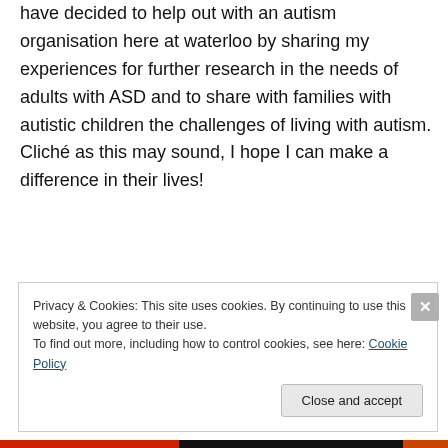have decided to help out with an autism organisation here at waterloo by sharing my experiences for further research in the needs of adults with ASD and to share with families with autistic children the challenges of living with autism. Cliché as this may sound, I hope I can make a difference in their lives!
Privacy & Cookies: This site uses cookies. By continuing to use this website, you agree to their use. To find out more, including how to control cookies, see here: Cookie Policy